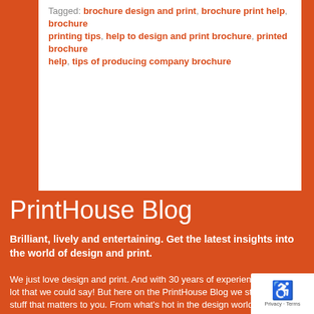Tagged: brochure design and print, brochure print help, brochure printing tips, help to design and print brochure, printed brochure help, tips of producing company brochure
PrintHouse Blog
Brilliant, lively and entertaining. Get the latest insights into the world of design and print.
We just love design and print. And with 30 years of experience, there is a lot that we could say! But here on the PrintHouse Blog we stick to the stuff that matters to you. From what's hot in the design world, to the latest printing trends. We get right behind the world of printing quotes to bring you topical and informative articles our own team here at PrintHouse Corporation.